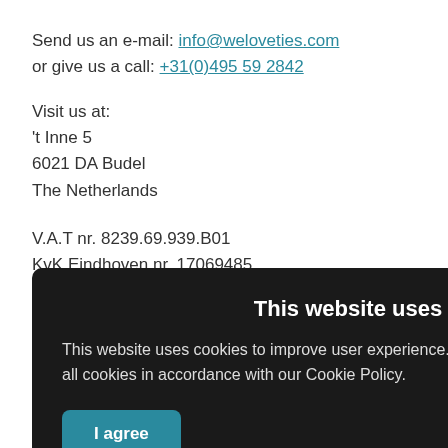Send us an e-mail: info@weloveties.com
or give us a call: +31(0)495 59 2842
Visit us at:
't Inne 5
6021 DA Budel
The Netherlands
V.A.T nr. 8239.69.939.B01
KvK Eindhoven nr. 17069485
IBAN Nr. NL58ABNA0498519473
BIC CODE: ABN ANL 2A
[Figure (screenshot): Cookie consent overlay with dark background. Title: 'This website uses cookies'. Body: 'This website uses cookies to improve user experience. By using our website you consent to all cookies in accordance with our Cookie Policy.' Two buttons: 'I agree' (teal) and 'Read more' (gray).]
Dispatch & delivery